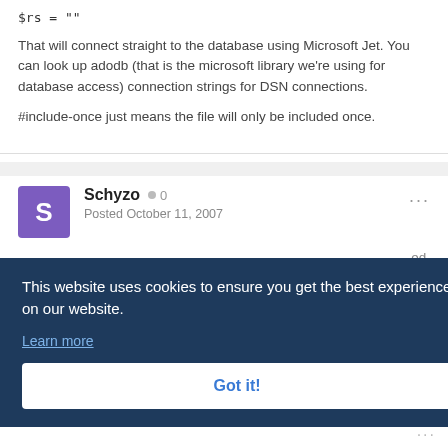$rs = ""
That will connect straight to the database using Microsoft Jet. You can look up adodb (that is the microsoft library we're using for database access) connection strings for DSN connections.
#include-once just means the file will only be included once.
Schyzo  0  Posted October 11, 2007
This website uses cookies to ensure you get the best experience on our website. Learn more
Got it!